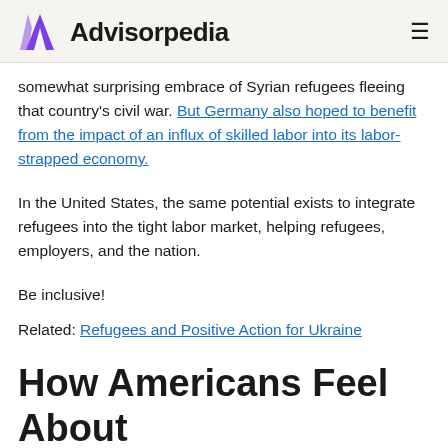Advisorpedia
somewhat surprising embrace of Syrian refugees fleeing that country's civil war. But Germany also hoped to benefit from the impact of an influx of skilled labor into its labor-strapped economy.
In the United States, the same potential exists to integrate refugees into the tight labor market, helping refugees, employers, and the nation.
Be inclusive!
Related: Refugees and Positive Action for Ukraine
How Americans Feel About Digital Assets